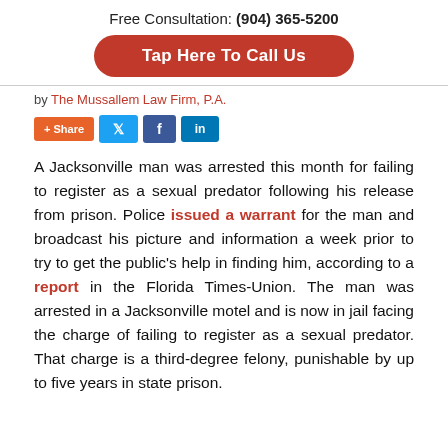Free Consultation: (904) 365-5200
[Figure (other): Red rounded button with white text: Tap Here To Call Us]
by The Mussallem Law Firm, P.A.
[Figure (other): Social sharing buttons: + Share (orange), Twitter bird (blue), Facebook f (dark blue), LinkedIn in (blue)]
A Jacksonville man was arrested this month for failing to register as a sexual predator following his release from prison. Police issued a warrant for the man and broadcast his picture and information a week prior to try to get the public’s help in finding him, according to a report in the Florida Times-Union. The man was arrested in a Jacksonville motel and is now in jail facing the charge of failing to register as a sexual predator. That charge is a third-degree felony, punishable by up to five years in state prison.